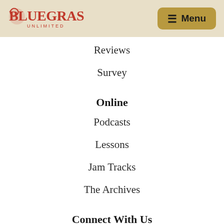Bluegrass Unlimited — Menu navigation header
Reviews
Survey
Online
Podcasts
Lessons
Jam Tracks
The Archives
Connect With Us
Facebook